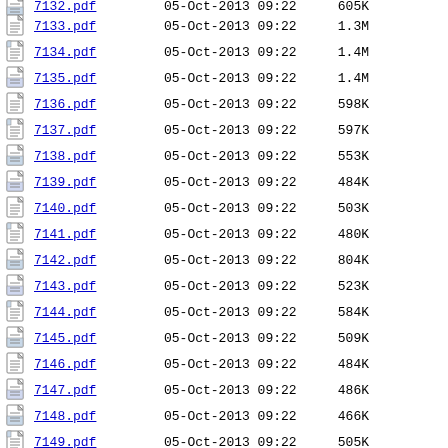7132.pdf  05-Oct-2013 09:22  605K
7133.pdf  05-Oct-2013 09:22  1.3M
7134.pdf  05-Oct-2013 09:22  1.4M
7135.pdf  05-Oct-2013 09:22  1.4M
7136.pdf  05-Oct-2013 09:22  598K
7137.pdf  05-Oct-2013 09:22  597K
7138.pdf  05-Oct-2013 09:22  553K
7139.pdf  05-Oct-2013 09:22  484K
7140.pdf  05-Oct-2013 09:22  503K
7141.pdf  05-Oct-2013 09:22  480K
7142.pdf  05-Oct-2013 09:22  804K
7143.pdf  05-Oct-2013 09:22  523K
7144.pdf  05-Oct-2013 09:22  584K
7145.pdf  05-Oct-2013 09:22  509K
7146.pdf  05-Oct-2013 09:22  484K
7147.pdf  05-Oct-2013 09:22  486K
7148.pdf  05-Oct-2013 09:22  466K
7149.pdf  05-Oct-2013 09:22  505K